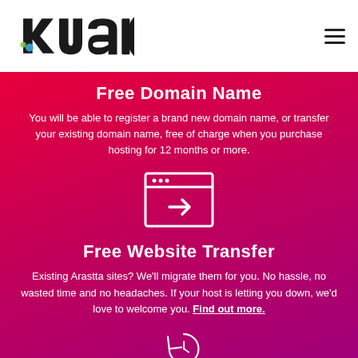[Figure (logo): Kualo logo in black with colored accent on the 'k']
[Figure (other): Hamburger menu icon (three horizontal lines)]
Free Domain Name
You will be able to register a brand new domain name, or transfer your existing domain name, free of charge when you purchase hosting for 12 months or more.
[Figure (illustration): Browser window icon with a right arrow inside, white outline on red background]
Free Website Transfer
Existing Arastta sites? We'll migrate them for you. No hassle, no wasted time and no headaches. If your host is letting you down, we'd love to welcome you. Find out more.
[Figure (illustration): Clock/refresh icon, white outline on red/pink background, partially visible at bottom]